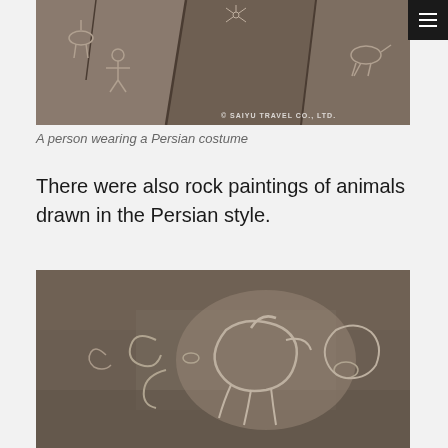[Figure (photo): Rock surface with ancient petroglyphs/engravings showing animal and human figures in Persian style, with watermark '© SAIYU TRAVEL CO., LTD.' in lower right]
A person wearing a Persian costume
There were also rock paintings of animals drawn in the Persian style.
[Figure (photo): Close-up of rock surface showing ancient petroglyphs with carved figures of animals in Persian style, brownish-gray stone texture]